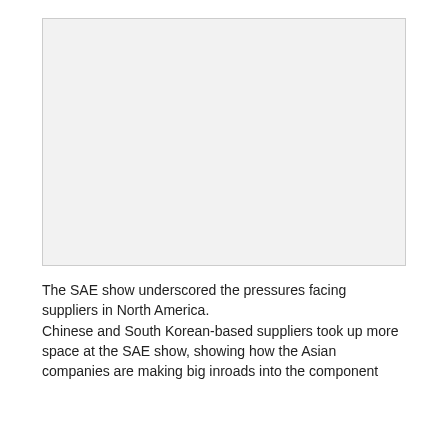[Figure (photo): A light gray placeholder image area representing a photograph, likely related to the SAE show or automotive suppliers.]
The SAE show underscored the pressures facing suppliers in North America. Chinese and South Korean-based suppliers took up more space at the SAE show, showing how the Asian companies are making big inroads into the component